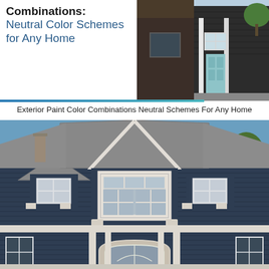Combinations: Neutral Color Schemes for Any Home
[Figure (photo): Photo of a house exterior with dark navy/brown siding, white trim, and a light blue front door]
Exterior Paint Color Combinations Neutral Schemes For Any Home
[Figure (photo): Close-up photo of a large home exterior with dark navy blue siding, white trim and window frames, dormers with decorative brackets, gray shingle roof, arched entryway with columns, blue sky with clouds and trees in background]